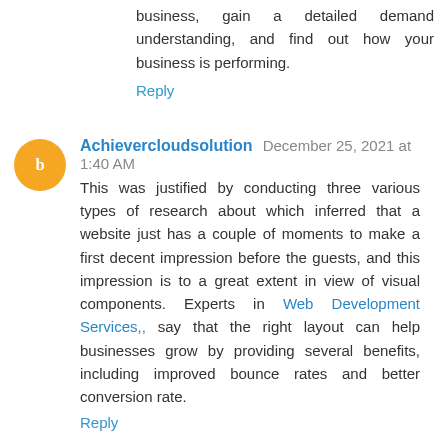business, gain a detailed demand understanding, and find out how your business is performing.
Reply
Achievercloudsolution December 25, 2021 at 1:40 AM
This was justified by conducting three various types of research about which inferred that a website just has a couple of moments to make a first decent impression before the guests, and this impression is to a great extent in view of visual components. Experts in Web Development Services,, say that the right layout can help businesses grow by providing several benefits, including improved bounce rates and better conversion rate.
Reply
Achievercloudsolution December 27, 2021 at 2:19 AM
The increased penetration of smartphones has led to more mobile users. Businesses are also trying to cater to this new set of users by creating mobile apps and improving